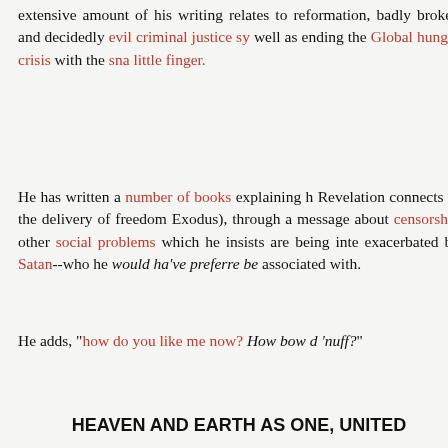extensive amount of his writing relates to reformation, badly broken and decidedly evil criminal justice system, as well as ending the Global hunger crisis with the snap of a little finger.
He has written a number of books explaining how Revelation connects to the delivery of freedom (like Exodus), through a message about censorship and other social problems which he insists are being intentionally exacerbated by Satan--who he would ha've preferred not to be associated with.
He adds, "how do you like me now? How bow dat 'nuff?"
HEAVEN AND EARTH AS ONE, UNITED